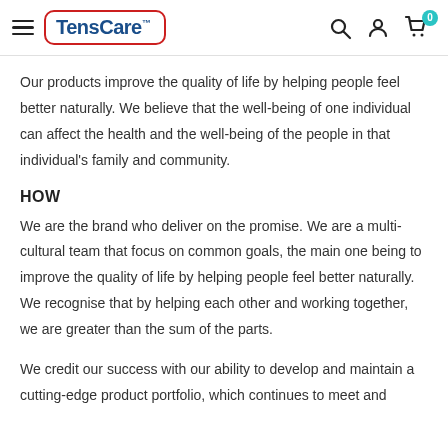TensCare™ [hamburger menu, search, account, cart icons]
Our products improve the quality of life by helping people feel better naturally. We believe that the well-being of one individual can affect the health and the well-being of the people in that individual's family and community.
HOW
We are the brand who deliver on the promise. We are a multi-cultural team that focus on common goals, the main one being to improve the quality of life by helping people feel better naturally. We recognise that by helping each other and working together, we are greater than the sum of the parts.
We credit our success with our ability to develop and maintain a cutting-edge product portfolio, which continues to meet and